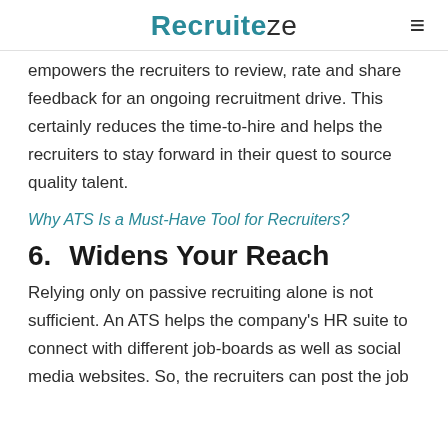Recruiteze
empowers the recruiters to review, rate and share feedback for an ongoing recruitment drive. This certainly reduces the time-to-hire and helps the recruiters to stay forward in their quest to source quality talent.
Why ATS Is a Must-Have Tool for Recruiters?
6.    Widens Your Reach
Relying only on passive recruiting alone is not sufficient. An ATS helps the company's HR suite to connect with different job-boards as well as social media websites. So, the recruiters can post the job